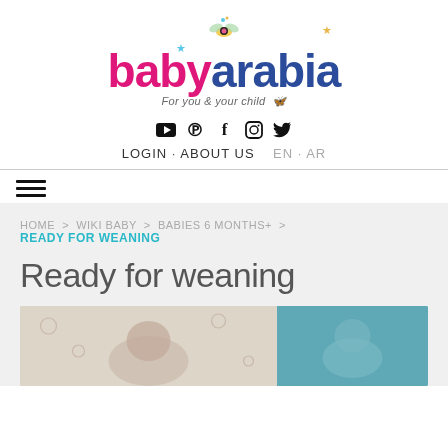[Figure (logo): babyarabia logo with tagline 'For you & your child', pink 'baby' text and blue 'arabia' text with decorative bee/butterfly icon]
■ ℗ f ○ ✓   LOGIN · ABOUT US  EN · AR
HOME > WIKI BABY > BABIES 6 MONTHS+ > READY FOR WEANING
Ready for weaning
[Figure (photo): Baby photo - infant lying down on patterned fabric, and a second photo of a baby on a light background]